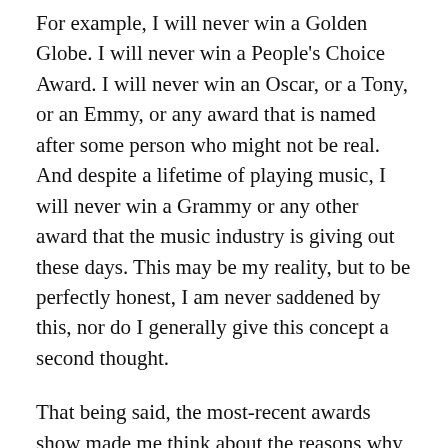For example, I will never win a Golden Globe. I will never win a People's Choice Award. I will never win an Oscar, or a Tony, or an Emmy, or any award that is named after some person who might not be real. And despite a lifetime of playing music, I will never win a Grammy or any other award that the music industry is giving out these days. This may be my reality, but to be perfectly honest, I am never saddened by this, nor do I generally give this concept a second thought.
That being said, the most-recent awards show made me think about the reasons why we even care about those kinds of awards. I can't name who won Best Actor or Actress from any of the awards shows that have taken place in the last several years, and that's really not an issue for me; I'll never meet any of the people who win those awards anyway. What's more, I'm not sure if I would want to meet most of the people who actually win those awards, seeing as how the evening news and